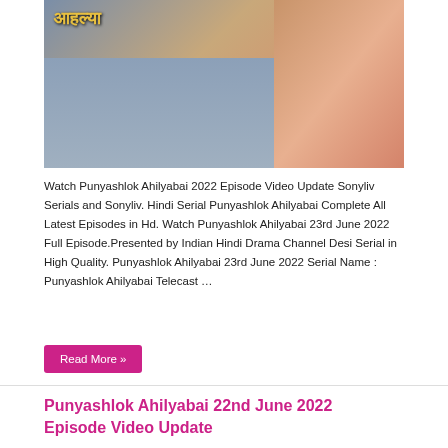[Figure (photo): TV serial Punyashlok Ahilyabai banner image with Devanagari text and actress]
Watch Punyashlok Ahilyabai 2022 Episode Video Update Sonyliv Serials and Sonyliv. Hindi Serial Punyashlok Ahilyabai Complete All Latest Episodes in Hd. Watch Punyashlok Ahilyabai 23rd June 2022 Full Episode.Presented by Indian Hindi Drama Channel Desi Serial in High Quality. Punyashlok Ahilyabai 23rd June 2022 Serial Name : Punyashlok Ahilyabai Telecast …
Read More »
Punyashlok Ahilyabai 22nd June 2022 Episode Video Update
Punyashlok Ahilyabai  0
[Figure (photo): Bottom partial image of serial scene in dark tones]